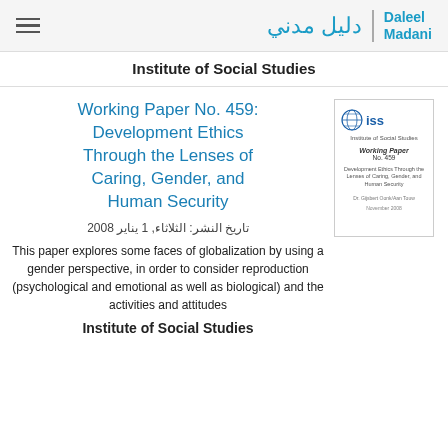Daleel Madani / دليل مدني
Institute of Social Studies
Working Paper No. 459: Development Ethics Through the Lenses of Caring, Gender, and Human Security
تاريخ النشر: الثلاثاء, 1 يناير 2008
[Figure (other): Thumbnail of the ISS Working Paper cover page with ISS globe logo and text]
This paper explores some faces of globalization by using a gender perspective, in order to consider reproduction (psychological and emotional as well as biological) and the activities and attitudes
Institute of Social Studies